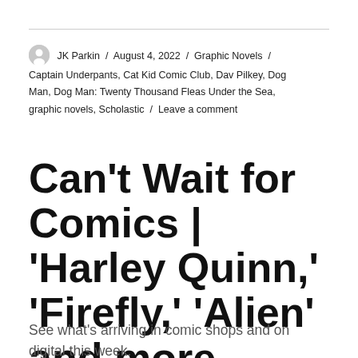JK Parkin / August 4, 2022 / Graphic Novels / Captain Underpants, Cat Kid Comic Club, Dav Pilkey, Dog Man, Dog Man: Twenty Thousand Fleas Under the Sea, graphic novels, Scholastic / Leave a comment
Can't Wait for Comics | 'Harley Quinn,' 'Firefly,' 'Alien' and more
See what's arriving in comic shops and on digital this week.